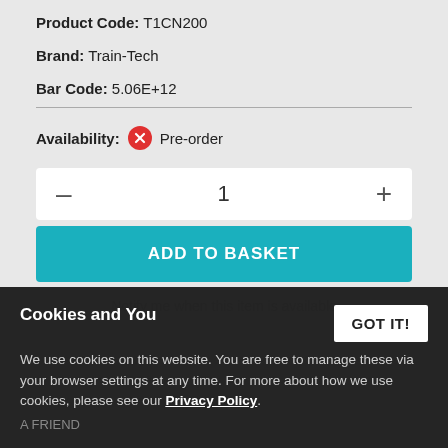Product Code: T1CN200
Brand: Train-Tech
Bar Code: 5.06E+12
Availability: Pre-order
1
ADD TO BASKET
Notify me when this item is available
Cookies and You
We use cookies on this website. You are free to manage these via your browser settings at any time. For more about how we use cookies, please see our Privacy Policy
GOT IT!